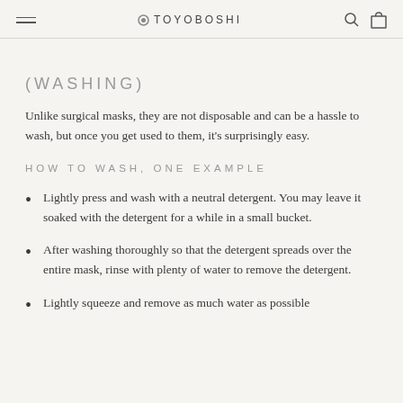TOYOBOSHI
(WASHING)
Unlike surgical masks, they are not disposable and can be a hassle to wash, but once you get used to them, it's surprisingly easy.
HOW TO WASH, ONE EXAMPLE
Lightly press and wash with a neutral detergent. You may leave it soaked with the detergent for a while in a small bucket.
After washing thoroughly so that the detergent spreads over the entire mask, rinse with plenty of water to remove the detergent.
Lightly squeeze and remove as much water as possible